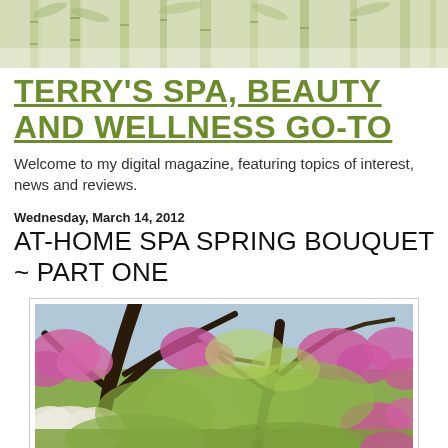[Figure (photo): Decorative bamboo forest header image with green foliage, light and muted tones]
TERRY'S SPA, BEAUTY AND WELLNESS GO-TO
Welcome to my digital magazine, featuring topics of interest, news and reviews.
Wednesday, March 14, 2012
AT-HOME SPA SPRING BOUQUET ~ PART ONE
[Figure (photo): Spring flowering trees with pink and white blossoms and bare dark branches against a green leafy background]